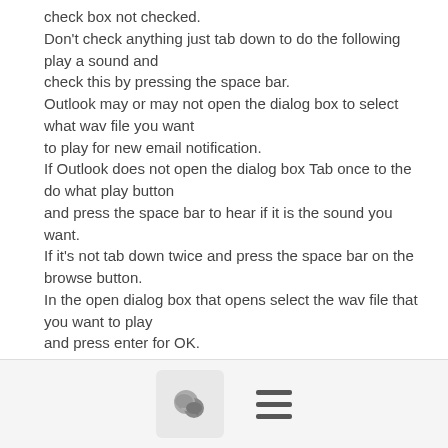check box not checked. Don't check anything just tab down to do the following play a sound and check this by pressing the space bar. Outlook may or may not open the dialog box to select what wav file you want to play for new email notification. If Outlook does not open the dialog box Tab once to the do what play button and press the space bar to hear if it is the sound you want. If it's not tab down twice and press the space bar on the browse button. In the open dialog box that opens select the wav file that you want to play and press enter for OK. Tab down to do what move to folder and press space bar to check this. Outlook may or may not open the dialog panel where you can
[chat icon] [menu icon]